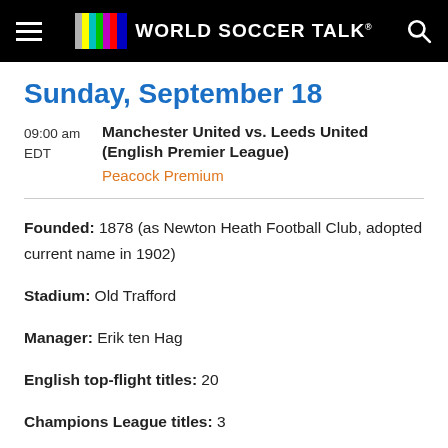World Soccer Talk
Sunday, September 18
09:00 am EDT  Manchester United vs. Leeds United (English Premier League)  Peacock Premium
Founded: 1878 (as Newton Heath Football Club, adopted current name in 1902)
Stadium: Old Trafford
Manager: Erik ten Hag
English top-flight titles: 20
Champions League titles: 3
Social Media:
[Figure (logo): Instagram, Twitter, and YouTube social media icons]